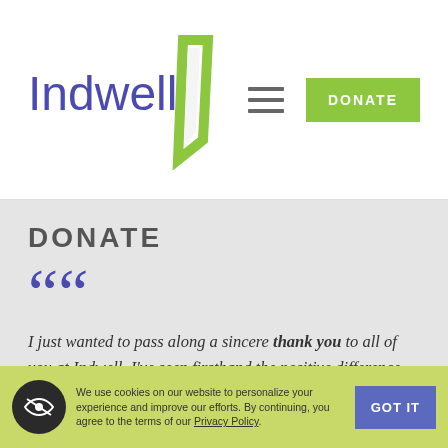[Figure (logo): Indwell logo with stylized green parallelogram/door shape and purple text reading 'Indwell']
DONATE (button) | Hamburger menu icon
DONATE
““ (opening quotation marks)
I just wanted to pass along a sincere thank you to all of you at Indwell. I've seen firsthand the positive difference you are making in communities and the
We use cookies on our website to personalize your experience and improve our efforts. By continuing, you agree to the terms of our Privacy Policy.